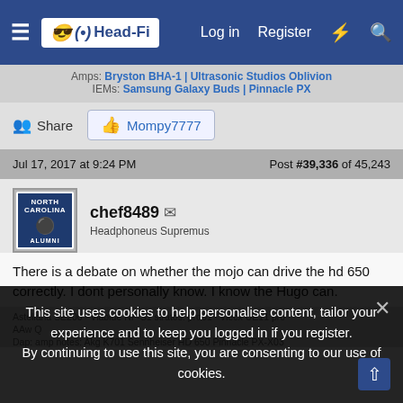Head-Fi — Log in | Register
Amps: Bryston BHA-1 | Ultrasonic Studios Oblivion
IEMs: Samsung Galaxy Buds | Pinnacle PX
Share   👍 Mompy7777
Jul 17, 2017 at 9:24 PM    Post #39,336 of 45,243
chef8489 ✉
Headhoneus Supremus
There is a debate on whether the mojo can drive the hd 650 correctly. I dont personally know. I know the Hugo can.
This site uses cookies to help personalise content, tailor your experience and to keep you logged in if you register.
By continuing to use this site, you are consenting to our use of cookies.